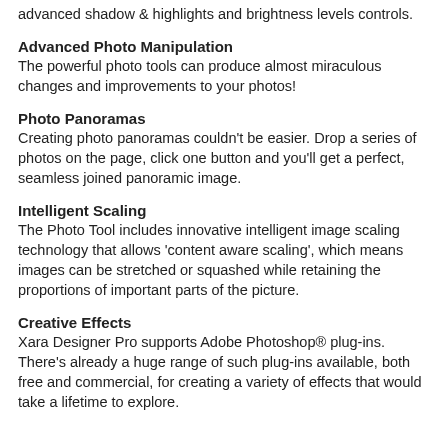advanced shadow & highlights and brightness levels controls.
Advanced Photo Manipulation
The powerful photo tools can produce almost miraculous changes and improvements to your photos!
Photo Panoramas
Creating photo panoramas couldn't be easier. Drop a series of photos on the page, click one button and you'll get a perfect, seamless joined panoramic image.
Intelligent Scaling
The Photo Tool includes innovative intelligent image scaling technology that allows 'content aware scaling', which means images can be stretched or squashed while retaining the proportions of important parts of the picture.
Creative Effects
Xara Designer Pro supports Adobe Photoshop® plug-ins. There's already a huge range of such plug-ins available, both free and commercial, for creating a variety of effects that would take a lifetime to explore.